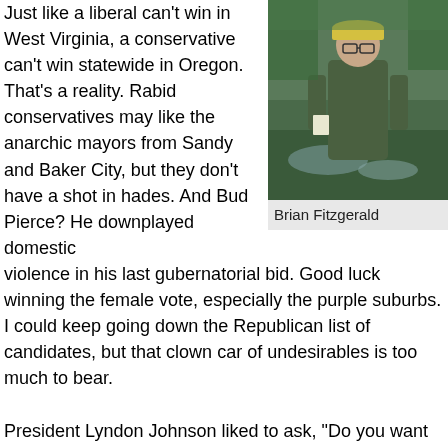Just like a liberal can't win in West Virginia, a conservative can't win statewide in Oregon. That's a reality. Rabid conservatives may like the anarchic mayors from Sandy and Baker City, but they don't have a shot in hades. And Bud Pierce? He downplayed domestic violence in his last gubernatorial bid. Good luck winning the female vote, especially the purple suburbs. I could keep going down the Republican list of candidates, but that clown car of undesirables is too much to bear.
[Figure (photo): Photo of Brian Fitzgerald standing outdoors near a stream with greenery in the background, wearing a green jacket and yellow cap.]
Brian Fitzgerald
President Lyndon Johnson liked to ask, "Do you want an issue, or do you want a bill?" Essentially, he's asking, "Do you want to be right, or do you want to win?" If Christine Drazan wins the primary, she will be the most accomplished and competitive candidate in over 40 years. She will give conservatives solid victories. She will vote the conservative position at least 75% of the time. If the Democrat Kotek wins, Republicans will get 0% of what they want. Which Republican wants a continuation of the Brown years?